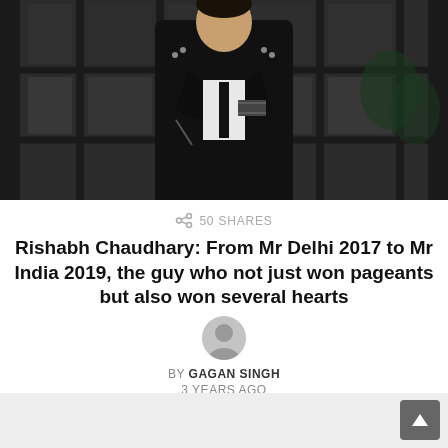[Figure (photo): Young man in black leather jacket with studs, white shirt and black tie, standing in front of dark glass window grid background]
50 SHARES
Rishabh Chaudhary: From Mr Delhi 2017 to Mr India 2019, the guy who not just won pageants but also won several hearts
BY GAGAN SINGH
3 YEARS AGO